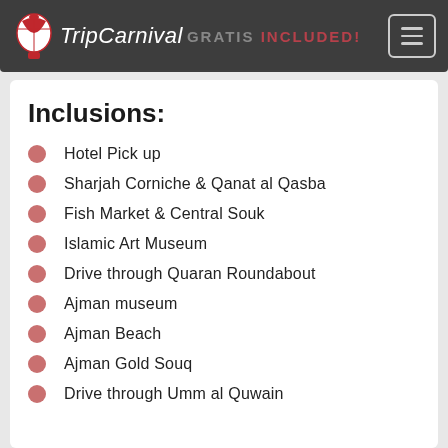TripCarnival GRATIS INCLUDED
Inclusions:
Hotel Pick up
Sharjah Corniche & Qanat al Qasba
Fish Market & Central Souk
Islamic Art Museum
Drive through Quaran Roundabout
Ajman museum
Ajman Beach
Ajman Gold Souq
Drive through Umm al Quwain